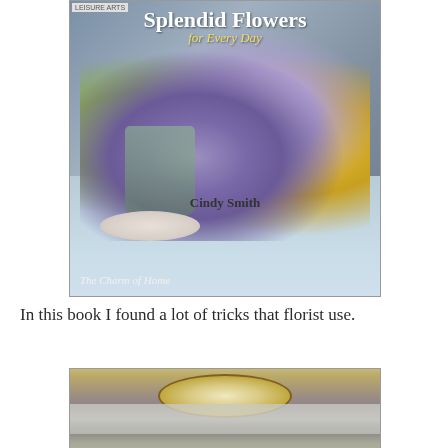[Figure (photo): Book cover of 'Splendid Flowers for Every Day' by Cindy Smith, showing a floral arrangement with purple, lavender, and yellow flowers on a table setting. Blog watermark 'The Charm of Home' visible at bottom.]
In this book I found a lot of tricks that florist use.
[Figure (photo): Partial photo showing a decorative plate with gold rim and a gray lace or fabric underneath, table setting detail.]